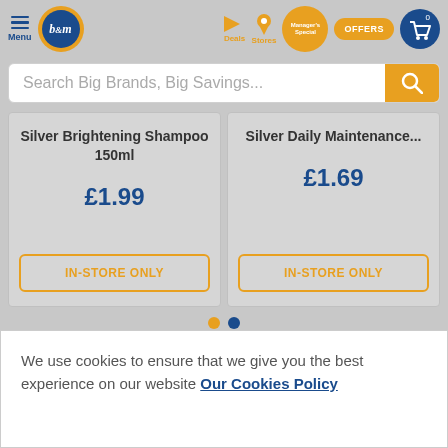[Figure (screenshot): B&M retail website header navigation with hamburger menu, B&M logo, Deals, Stores, Manager's Special, Offers icons, and cart icon]
Search Big Brands, Big Savings...
Silver Brightening Shampoo 150ml
£1.99
IN-STORE ONLY
Silver Daily Maintenance...
£1.69
IN-STORE ONLY
We use cookies to ensure that we give you the best experience on our website Our Cookies Policy